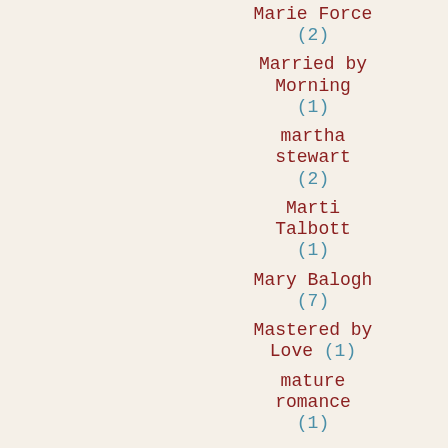Marie Force (2)
Married by Morning (1)
martha stewart (2)
Marti Talbott (1)
Mary Balogh (7)
Mastered by Love (1)
mature romance (1)